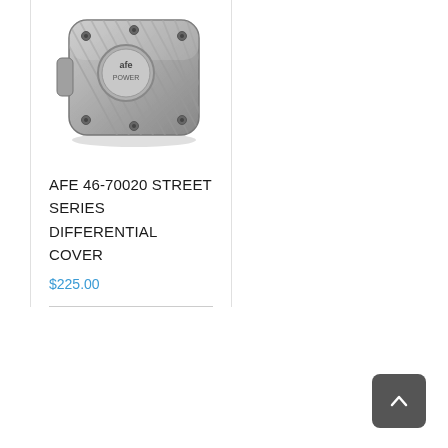[Figure (photo): aFe Power differential cover product photo - silver/raw aluminum ribbed differential cover with aFe Power logo]
AFE 46-70020 STREET SERIES DIFFERENTIAL COVER
$225.00